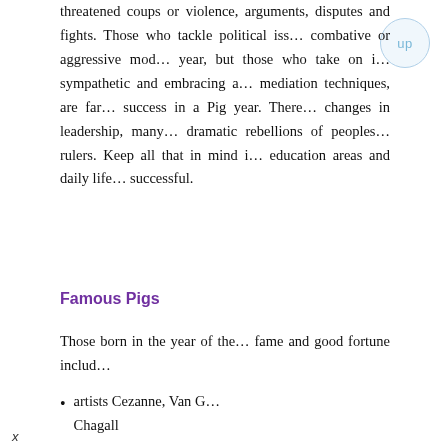threatened coups or violence, arguments, disputes and fights. Those who tackle political issues in combative or aggressive mode this year, but those who take on issues in sympathetic and embracing approaches, mediation techniques, are far more likely to succeed in a Pig year. There will also be changes in leadership, many uprisings and dramatic rebellions of peoples against their rulers. Keep all that in mind in business, education areas and daily life interactions to be successful.
Famous Pigs
Those born in the year of the Pig who have achieved fame and good fortune include:
artists Cezanne, Van G… Chagall
x